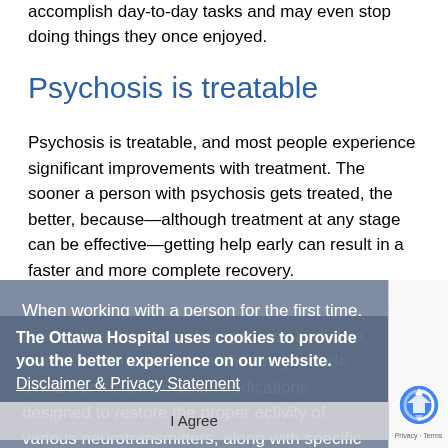accomplish day-to-day tasks and may even stop doing things they once enjoyed.
Psychosis is treatable
Psychosis is treatable, and most people experience significant improvements with treatment. The sooner a person with psychosis gets treated, the better, because—although treatment at any stage can be effective—getting help early can result in a faster and more complete recovery.
When working with a person for the first time, the psychiatrist or psychologist may also do a mental health assessment that may include blood work or other tests. Medications designed to restore the proper activity of various neurotransmitters, along with specific types of talk therapy, may be suggested. The mental health team will work with the person to identify and manage the types of stressors that may make the illness
The Ottawa Hospital uses cookies to provide you the better experience on our website. Disclaimer & Privacy Statement
I Agree